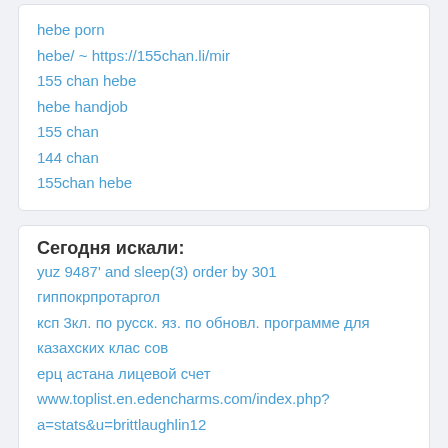hebe porn
hebe/ ~ https://155chan.li/mir
155 chan hebe
hebe handjob
155 chan
144 chan
155chan hebe
Сегодня искали:
yuz 9487' and sleep(3) order by 301
гиппокрпротаргол
ксп 3кл. по русск. яз. по обновл. программе для казахских клас сов
ерц астана лицевой счет
www.toplist.en.edencharms.com/index.php?a=stats&u=brittlaughlin12
144 chan hebe на YouTube: